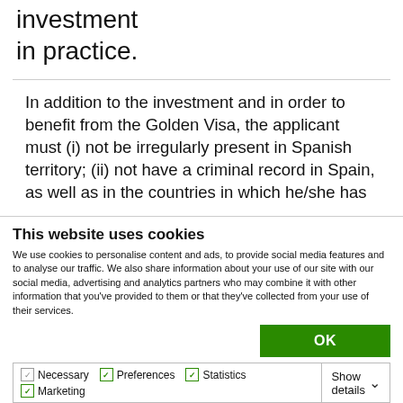investment
in practice.
In addition to the investment and in order to benefit from the Golden Visa, the applicant must (i) not be irregularly present in Spanish territory; (ii) not have a criminal record in Spain, as well as in the countries in which he/she has
This website uses cookies
We use cookies to personalise content and ads, to provide social media features and to analyse our traffic. We also share information about your use of our site with our social media, advertising and analytics partners who may combine it with other information that you've provided to them or that they've collected from your use of their services.
OK
Necessary  Preferences  Statistics  Marketing  Show details